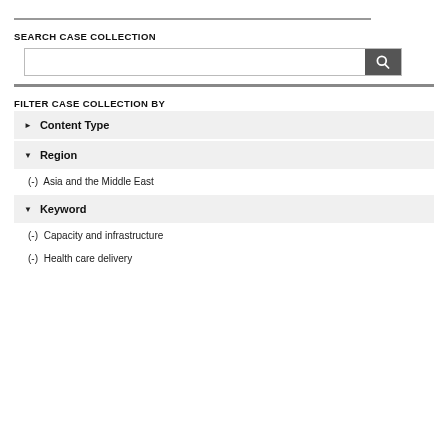SEARCH CASE COLLECTION
[Figure (screenshot): Search input box with a dark search button containing a magnifying glass icon]
FILTER CASE COLLECTION BY
▶ Content Type
▼ Region
(-) Asia and the Middle East
▼ Keyword
(-) Capacity and infrastructure
(-) Health care delivery